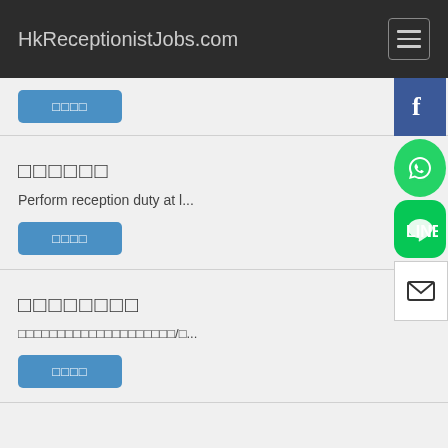HkReceptionistJobs.com
□□□□
□□□□□□
Perform reception duty at l...
□□□□
□□□□□□□□
□□□□□□□□□□□□□□□□□□□□/□...
□□□□